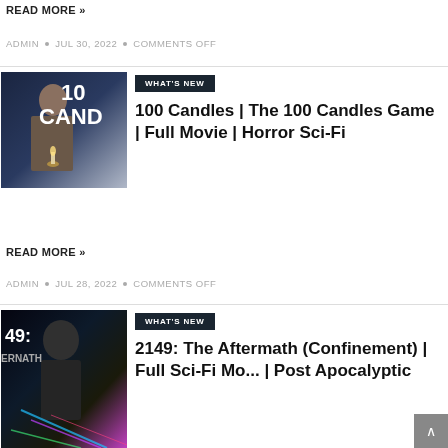READ MORE »
ADMIN • JUL 30, 2022 • COMMENTS OFF
[Figure (photo): Movie poster for 100 Candles showing a woman holding a candle in a dark setting with '10 CAND' text visible]
WHAT'S NEW
100 Candles | The 100 Candles Game | Full Movie | Horror Sci-Fi
READ MORE »
ADMIN • JUL 28, 2022 • COMMENTS OFF
[Figure (photo): Movie poster for 2149: The Aftermath (Confinement) showing a figure with colorful digital/sci-fi elements]
WHAT'S NEW
2149: The Aftermath (Confinement) | Full Sci-Fi Mo... | Post Apocalyptic